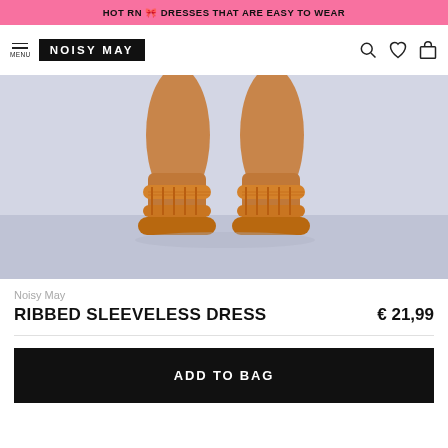HOT RN 🎀 DRESSES THAT ARE EASY TO WEAR
[Figure (screenshot): Noisy May navigation bar with hamburger menu, NOISY MAY logo in black box, search icon, heart icon, and bag icon]
[Figure (photo): Close-up of a person's feet wearing orange ribbed platform sandal slides against a light grey background]
Noisy May
RIBBED SLEEVELESS DRESS    € 21,99
ADD TO BAG